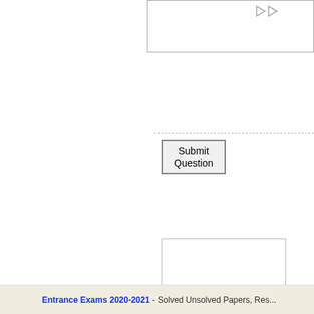[Figure (screenshot): Top portion of a web form box partially visible at the top of the right panel, showing icons in the upper right corner.]
Submit Question
[Figure (screenshot): Advertisement box with a dark gray rectangle, a cyan play triangle icon and an X icon below it.]
Previous: Cochin University B.Tech in Mech... Kamaraj University, M.A...
Entrance Exams 2020-2021 - Solved Unsolved Papers, Res...